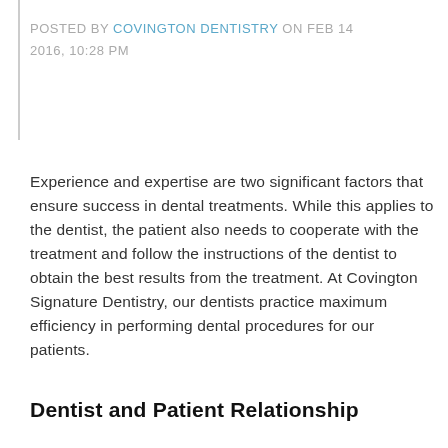POSTED BY COVINGTON DENTISTRY ON FEB 14 2016, 10:28 PM
Experience and expertise are two significant factors that ensure success in dental treatments. While this applies to the dentist, the patient also needs to cooperate with the treatment and follow the instructions of the dentist to obtain the best results from the treatment. At Covington Signature Dentistry, our dentists practice maximum efficiency in performing dental procedures for our patients.
Dentist and Patient Relationship